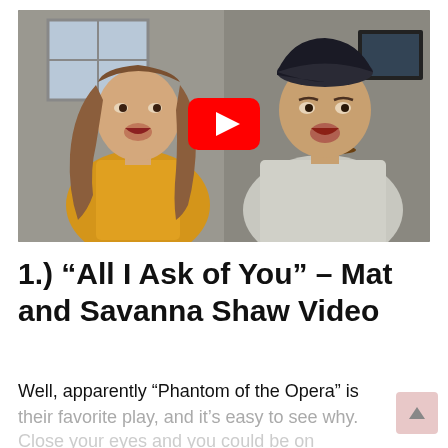[Figure (screenshot): YouTube video thumbnail showing a young woman with long wavy brown hair wearing a yellow dress and a man in a light gray t-shirt and dark baseball cap, both smiling with mouths open. A red YouTube play button is overlaid in the center. Background shows an interior room setting.]
1.) “All I Ask of You” – Mat and Savanna Shaw Video
Well, apparently “Phantom of the Opera” is their favorite play, and it’s easy to see why. Close your eyes and you could be on